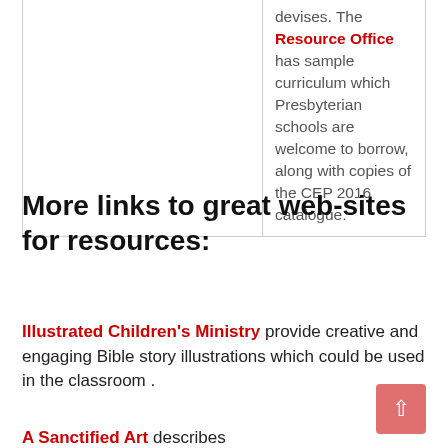|  | devises. The Resource Office has sample curriculum which Presbyterian schools are welcome to borrow, along with copies of the CEP 2016 catalogue. |
More links to great web-sites for resources:
Illustrated Children's Ministry provide creative and engaging Bible story illustrations which could be used in the classroom .
A Sanctified Art describes